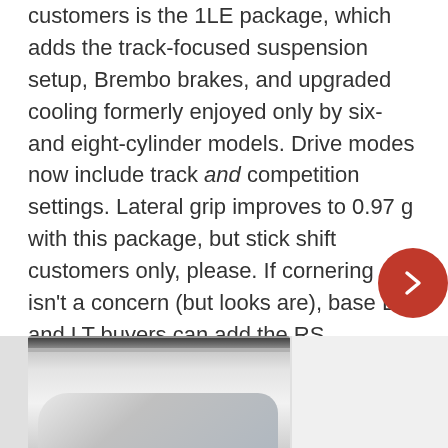customers is the 1LE package, which adds the track-focused suspension setup, Brembo brakes, and upgraded cooling formerly enjoyed only by six- and eight-cylinder models. Drive modes now include track and competition settings. Lateral grip improves to 0.97 g with this package, but stick shift customers only, please. If cornering isn't a concern (but looks are), base LS and LT buyers can add the RS package, bringing 20-inch aluminum wheels, rear spoiler, and revised upper and lower grilles to the fold.
[Figure (photo): Partial view of a white/silver car interior or exterior, cropped at the bottom of the page. A vertical stick or rod element visible on the right side.]